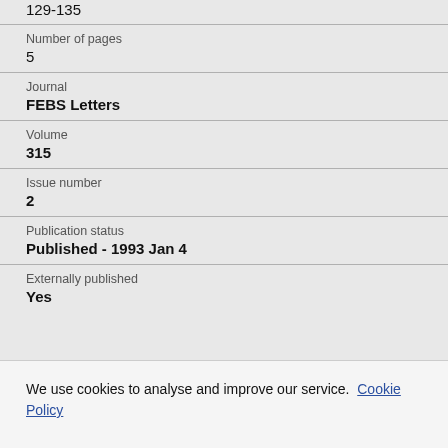129-135
Number of pages
5
Journal
FEBS Letters
Volume
315
Issue number
2
Publication status
Published - 1993 Jan 4
Externally published
Yes
We use cookies to analyse and improve our service. Cookie Policy